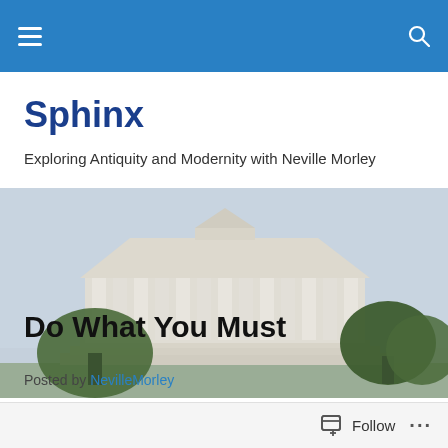Sphinx — navigation bar
Sphinx
Exploring Antiquity and Modernity with Neville Morley
[Figure (photo): Photograph of a neoclassical building with large columns and a triangular pediment, resembling a Greek temple, with trees visible on either side against a grey sky.]
Do What You Must
Posted by NevilleMorley
Follow